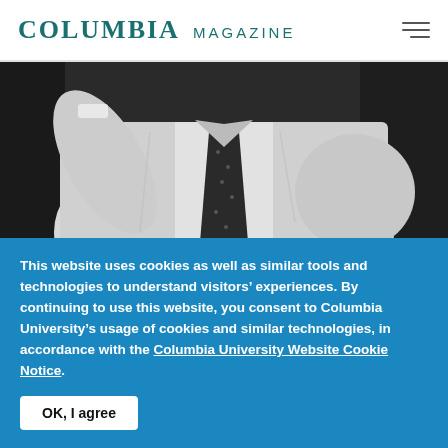COLUMBIA MAGAZINE
[Figure (photo): Black and white photo of a man in a white dress shirt and dark tie, cropped at torso level, arm raised.]
BOOKS
Book Review: “Koestler”
The Literary and Political Odyssey of a
This website uses cookies as well as similar tools and technologies to understand visitors’ experiences. By continuing to use this website, you consent to Columbia University’s usage of cookies and similar technologies, in accordance with the Columbia University Website Cookie Notice.
OK, I agree